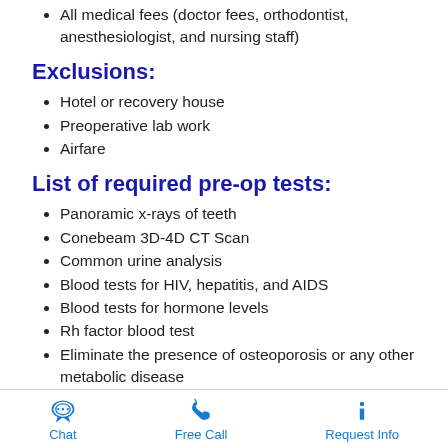All medical fees (doctor fees, orthodontist, anesthesiologist, and nursing staff)
Exclusions:
Hotel or recovery house
Preoperative lab work
Airfare
List of required pre-op tests:
Panoramic x-rays of teeth
Conebeam 3D-4D CT Scan
Common urine analysis
Blood tests for HIV, hepatitis, and AIDS
Blood tests for hormone levels
Rh factor blood test
Eliminate the presence of osteoporosis or any other metabolic disease
Note: The laboratory tests are done at least 7-10 days prior to
Chat   Free Call   Request Info